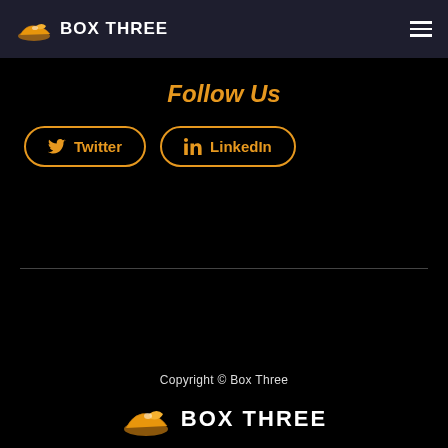BOX THREE
Follow Us
Twitter
LinkedIn
Copyright © Box Three